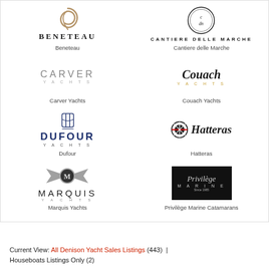[Figure (logo): Beneteau yacht brand logo with swirl icon and bold text]
Beneteau
[Figure (logo): Cantiere delle Marche logo with CDM circle emblem]
Cantiere delle Marche
[Figure (logo): Carver Yachts logo in light grey text]
Carver Yachts
[Figure (logo): Couach Yachts logo in italic script with gold subtitle]
Couach Yachts
[Figure (logo): Dufour Yachts logo in dark blue bold text with anchor icon]
Dufour
[Figure (logo): Hatteras logo with circular emblem and italic script]
Hatteras
[Figure (logo): Marquis Yachts logo with wings emblem and spaced lettering]
Marquis Yachts
[Figure (logo): Privilege Marine Catamarans logo on black background with script text]
Privilège Marine Catamarans
Current View: All Denison Yacht Sales Listings (443)  |  Houseboats Listings Only (2)